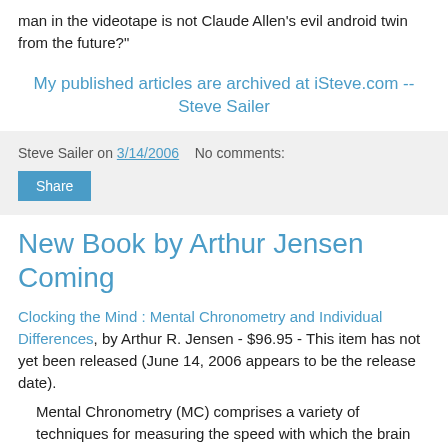man in the videotape is not Claude Allen's evil android twin from the future?"
My published articles are archived at iSteve.com -- Steve Sailer
Steve Sailer on 3/14/2006    No comments:
New Book by Arthur Jensen Coming
Clocking the Mind : Mental Chronometry and Individual Differences, by Arthur R. Jensen - $96.95 - This item has not yet been released (June 14, 2006 appears to be the release date).
Mental Chronometry (MC) comprises a variety of techniques for measuring the speed with which the brain